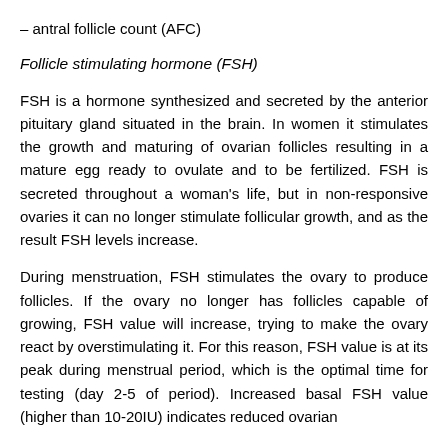– antral follicle count (AFC)
Follicle stimulating hormone (FSH)
FSH is a hormone synthesized and secreted by the anterior pituitary gland situated in the brain. In women it stimulates the growth and maturing of ovarian follicles resulting in a mature egg ready to ovulate and to be fertilized. FSH is secreted throughout a woman's life, but in non-responsive ovaries it can no longer stimulate follicular growth, and as the result FSH levels increase.
During menstruation, FSH stimulates the ovary to produce follicles. If the ovary no longer has follicles capable of growing, FSH value will increase, trying to make the ovary react by overstimulating it. For this reason, FSH value is at its peak during menstrual period, which is the optimal time for testing (day 2-5 of period). Increased basal FSH value (higher than 10-20IU) indicates reduced ovarian